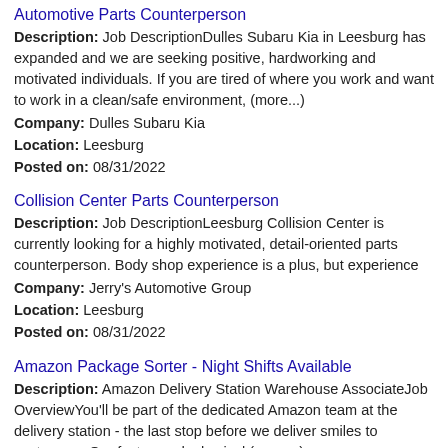Automotive Parts Counterperson
Description: Job DescriptionDulles Subaru Kia in Leesburg has expanded and we are seeking positive, hardworking and motivated individuals. If you are tired of where you work and want to work in a clean/safe environment, (more...)
Company: Dulles Subaru Kia
Location: Leesburg
Posted on: 08/31/2022
Collision Center Parts Counterperson
Description: Job DescriptionLeesburg Collision Center is currently looking for a highly motivated, detail-oriented parts counterperson. Body shop experience is a plus, but experience
Company: Jerry's Automotive Group
Location: Leesburg
Posted on: 08/31/2022
Amazon Package Sorter - Night Shifts Available
Description: Amazon Delivery Station Warehouse AssociateJob OverviewYou'll be part of the dedicated Amazon team at the delivery station - the last stop before we deliver smiles to customers. Our fast-paced, physical (more...)
Company: Amazon Workforce Staffing
Location: Leesburg